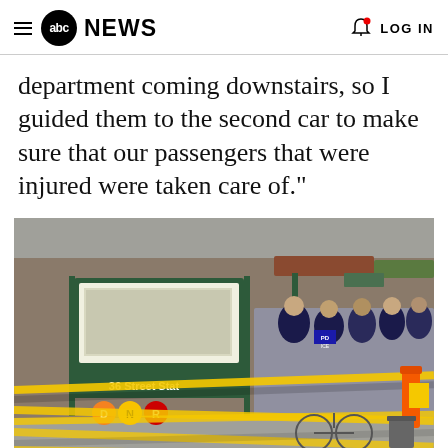ABC NEWS | LOG IN
department coming downstairs, so I guided them to the second car to make sure that our passengers that were injured were taken care of."
[Figure (photo): Police officers and emergency personnel gather outside the 36th Street subway station entrance, which is cordoned off with yellow crime scene tape. The scene is in Brooklyn, New York, showing law enforcement response to a subway shooting incident.]